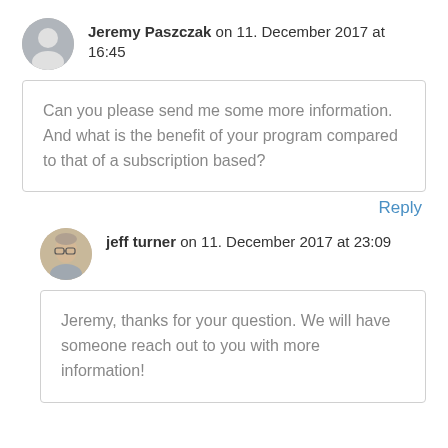Jeremy Paszczak on 11. December 2017 at 16:45
Can you please send me some more information. And what is the benefit of your program compared to that of a subscription based?
Reply
jeff turner on 11. December 2017 at 23:09
Jeremy, thanks for your question. We will have someone reach out to you with more information!